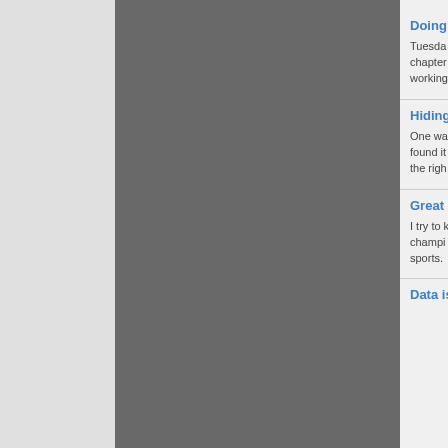Doing W...
Tuesday... chapter... working...
Hiding ...
One wa... found it... the righ...
Great L...
I try to k... champi... sports.
Data is...